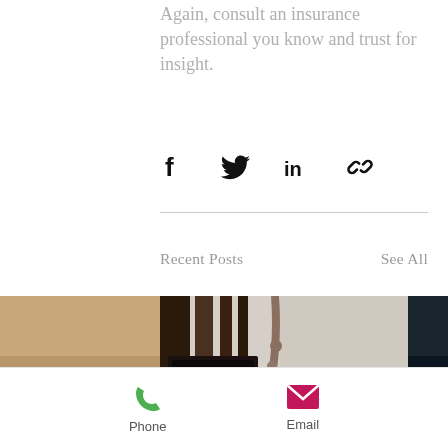Again, consult an insurance professional you know and trust for insight.
[Figure (infographic): Social sharing icons: Facebook, Twitter, LinkedIn, and a link/chain icon]
[Figure (photo): Recent blog post image strip showing three photos: left partial interior room photo, center construction/damage photo showing wood framing and crumbling stucco wall, right partial dark vehicle photo]
Recent Posts
See All
[Figure (infographic): Bottom navigation bar with Phone (green phone icon) and Email (pink envelope icon) actions]